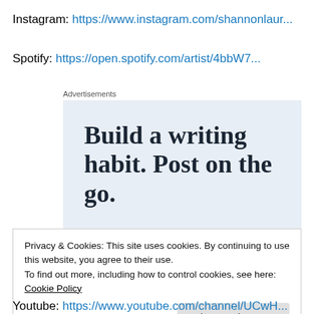Instagram: https://www.instagram.com/shannonlaur...
Spotify: https://open.spotify.com/artist/4bbW7...
Advertisements
[Figure (other): Advertisement banner with text 'Build a writing habit. Post on the go.' on a light blue background with a small icon at bottom right.]
Privacy & Cookies: This site uses cookies. By continuing to use this website, you agree to their use.
To find out more, including how to control cookies, see here: Cookie Policy
Youtube: https://www.youtube.com/channel/UCwH...